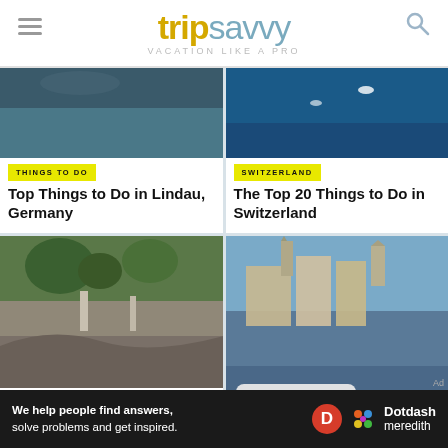tripsavvy VACATION LIKE A PRO
[Figure (screenshot): Card with lake/water image and THINGS TO DO badge]
Top Things to Do in Lindau, Germany
[Figure (screenshot): Card with Swiss lake/water image and SWITZERLAND badge]
The Top 20 Things to Do in Switzerland
[Figure (screenshot): Card with rocky hillside/nature image and THINGS TO DO badge]
Northern Italy's UNESCO World
[Figure (screenshot): Card with European river cruise ship and EUROPE badge]
We help people find answers, solve problems and get inspired. Dotdash meredith